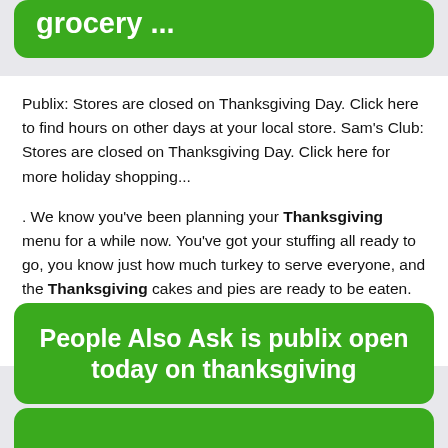grocery ...
Publix: Stores are closed on Thanksgiving Day. Click here to find hours on other days at your local store. Sam's Club: Stores are closed on Thanksgiving Day. Click here for more holiday shopping...
. We know you’ve been planning your Thanksgiving menu for a while now. You’ve got your stuffing all ready to go, you know just how much turkey to serve everyone, and the Thanksgiving cakes and pies are ready to be eaten. But we all know that even the most prepared of us tends to forget one ingredient that we need to complete our ...
People Also Ask is publix open today on thanksgiving